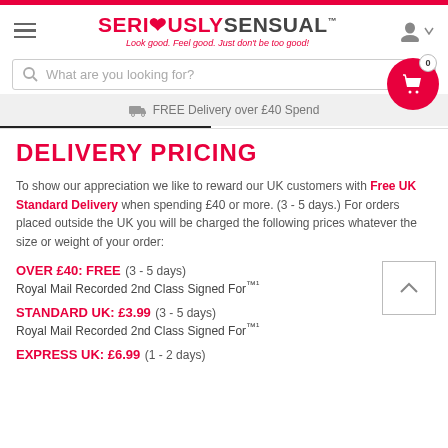SERIOUSLYSENSUAL™ — Look good. Feel good. Just don't be too good!
FREE Delivery over £40 Spend
DELIVERY PRICING
To show our appreciation we like to reward our UK customers with Free UK Standard Delivery when spending £40 or more. (3 - 5 days.) For orders placed outside the UK you will be charged the following prices whatever the size or weight of your order:
OVER £40: FREE (3 - 5 days)
Royal Mail Recorded 2nd Class Signed For™¹
STANDARD UK: £3.99 (3 - 5 days)
Royal Mail Recorded 2nd Class Signed For™¹
EXPRESS UK: £6.99 (1 - 2 days)